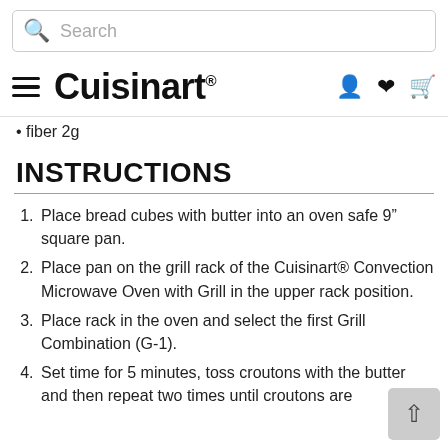Search
Cuisinart®
fiber 2g
INSTRUCTIONS
Place bread cubes with butter into an oven safe 9″ square pan.
Place pan on the grill rack of the Cuisinart® Convection Microwave Oven with Grill in the upper rack position.
Place rack in the oven and select the first Grill Combination (G-1).
Set time for 5 minutes, toss croutons with the butter and then repeat two times until croutons are